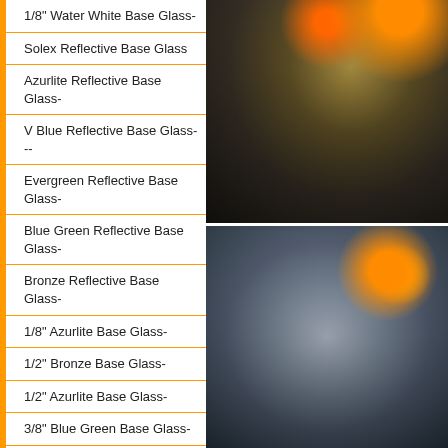1/8" Water White Base Glass-
Solex Reflective Base Glass
Azurlite Reflective Base Glass-
V Blue Reflective Base Glass---
Evergreen Reflective Base Glass-
Blue Green Reflective Base Glass-
Bronze Reflective Base Glass-
1/8" Azurlite Base Glass-
1/2" Bronze Base Glass-
1/2" Azurlite Base Glass-
3/8" Blue Green Base Glass-
[Figure (photo): Close-up photo of dark reflective fire glass/gravel with orange flames and a metal scoop]
[Figure (photo): Close-up photo of clear/grey reflective fire glass with orange flames and metal hardware visible]